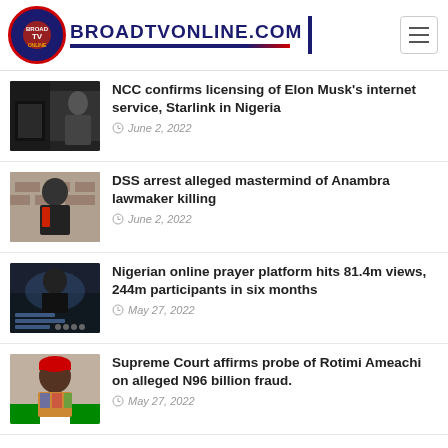BROADTVONLINE.COM
[Figure (photo): News thumbnail: Elon Musk with dark background]
NCC confirms licensing of Elon Musk's internet service, Starlink in Nigeria
June 2, 2022
[Figure (photo): News thumbnail: man in suit against brick wall]
DSS arrest alleged mastermind of Anambra lawmaker killing
June 2, 2022
[Figure (photo): News thumbnail: Nigerian online prayer platform promotional image]
Nigerian online prayer platform hits 81.4m views, 244m participants in six months
May 27, 2022
[Figure (photo): News thumbnail: man in colorful traditional attire and red cap]
Supreme Court affirms probe of Rotimi Ameachi on alleged N96 billion fraud.
May 27, 2022